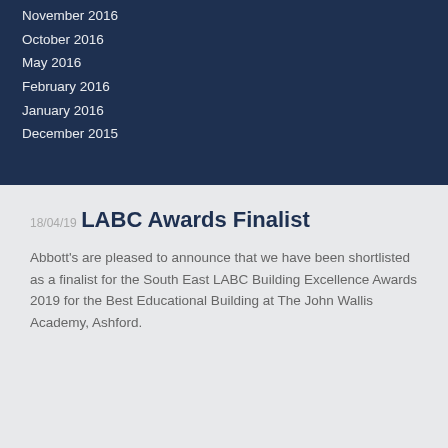November 2016
October 2016
May 2016
February 2016
January 2016
December 2015
18/04/19
LABC Awards Finalist
Abbott's are pleased to announce that we have been shortlisted as a finalist for the South East LABC Building Excellence Awards 2019 for the Best Educational Building at The John Wallis Academy, Ashford.